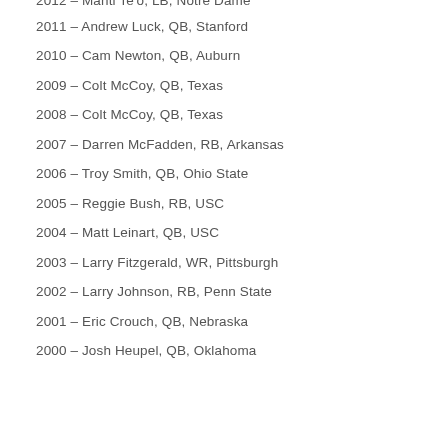2012 – Manti Te'o, LB, Notre Dame
2011 – Andrew Luck, QB, Stanford
2010 – Cam Newton, QB, Auburn
2009 – Colt McCoy, QB, Texas
2008 – Colt McCoy, QB, Texas
2007 – Darren McFadden, RB, Arkansas
2006 – Troy Smith, QB, Ohio State
2005 – Reggie Bush, RB, USC
2004 – Matt Leinart, QB, USC
2003 – Larry Fitzgerald, WR, Pittsburgh
2002 – Larry Johnson, RB, Penn State
2001 – Eric Crouch, QB, Nebraska
2000 – Josh Heupel, QB, Oklahoma